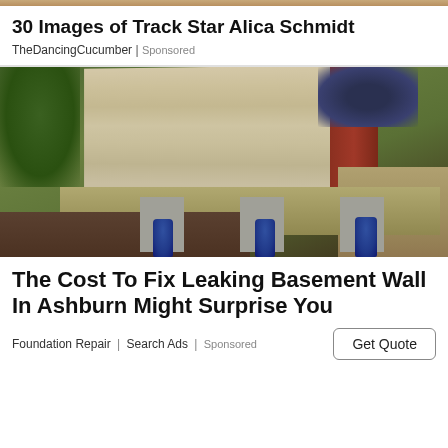30 Images of Track Star Alica Schmidt
TheDancingCucumber | Sponsored
[Figure (photo): Photo of a house foundation being lifted with hydraulic jacks placed on concrete blocks under a wooden beam, with dirt and construction debris visible]
The Cost To Fix Leaking Basement Wall In Ashburn Might Surprise You
Foundation Repair | Search Ads | Sponsored
Get Quote